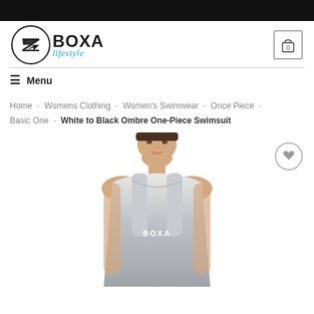[Figure (logo): BOXA lifestyle brand logo with circular emblem]
[Figure (illustration): Shopping cart icon with number 0]
≡ Menu
Home - Womens Clothing - Women's Swimwear - Once Piece - Basic One - White to Black Ombre One-Piece Swimsuit
[Figure (photo): Woman wearing a white to black ombre one-piece swimsuit with BOXA logo on the chest]